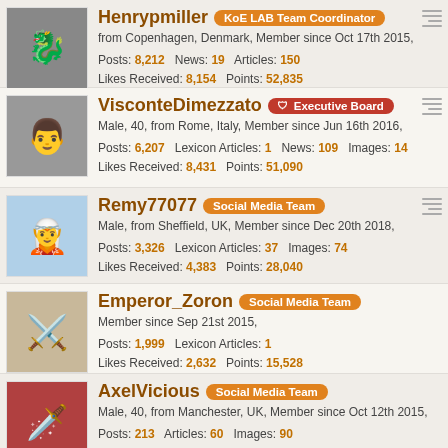Henrypmiller - KoE LAB Team Coordinator | from Copenhagen, Denmark, Member since Oct 17th 2015 | Posts: 8,212  News: 19  Articles: 150 | Likes Received: 8,154  Points: 52,835
VisconteDimezzato - Executive Board | Male, 40, from Rome, Italy, Member since Jun 16th 2016 | Posts: 6,207  Lexicon Articles: 1  News: 109  Images: 14 | Likes Received: 8,431  Points: 51,090
Remy77077 - Social Media Team | Male, from Sheffield, UK, Member since Dec 20th 2018 | Posts: 3,326  Lexicon Articles: 37  Images: 74 | Likes Received: 4,383  Points: 28,040
Emperor_Zoron - Social Media Team | Member since Sep 21st 2015 | Posts: 1,999  Lexicon Articles: 1 | Likes Received: 2,632  Points: 15,528
AxelVicious - Social Media Team | Male, 40, from Manchester, UK, Member since Oct 12th 2015 | Posts: 213  Articles: 60  Images: 90 | Likes Received: 1,578  Points: 11,227
Ironclad - Social Media Team | Male, from Hammarby sjöstad Stockholm Sweden